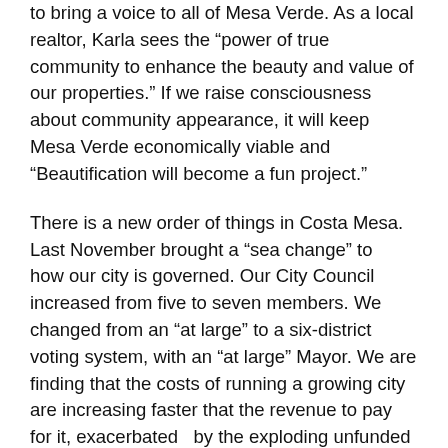to bring a voice to all of Mesa Verde. As a local realtor, Karla sees the “power of true community to enhance the beauty and value of our properties.” If we raise consciousness about community appearance, it will keep Mesa Verde economically viable and “Beautification will become a fun project.”
There is a new order of things in Costa Mesa. Last November brought a “sea change” to   how our city is governed. Our City Council increased from five to seven members. We changed from an “at large” to a six-district voting system, with an “at large” Mayor. We are finding that the costs of running a growing city are increasing faster that the revenue to pay for it, exacerbated  by the exploding unfunded pension liability, now close to $300,000,000. To quote from the 2019-2020 budget message, “The past six years have marked unparalleled prosperity for Costa Mesa